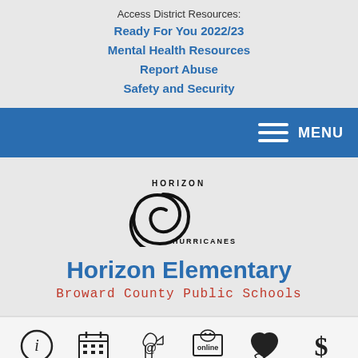Access District Resources:
Ready For You 2022/23
Mental Health Resources
Report Abuse
Safety and Security
[Figure (logo): Horizon Hurricanes school logo - spiral hurricane graphic with HORIZON text above and HURRICANES text below]
Horizon Elementary
Broward County Public Schools
[Figure (infographic): Bottom icon bar with 6 icons: info (i), calendar, email/phone, online registration, community/care, and dollar sign]